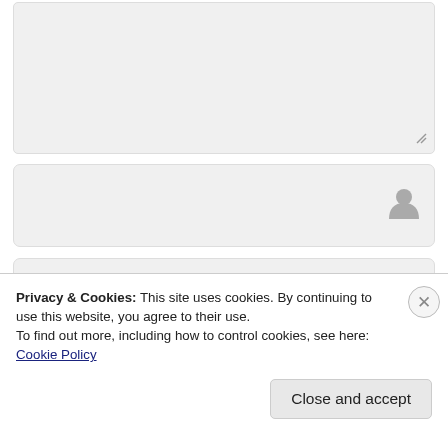[Figure (screenshot): A web form with a textarea at top (with resize handle), followed by three input fields with icons: a user/person icon, an email envelope icon, and a home/house icon. All fields have light gray background.]
Privacy & Cookies: This site uses cookies. By continuing to use this website, you agree to their use.
To find out more, including how to control cookies, see here: Cookie Policy
Close and accept